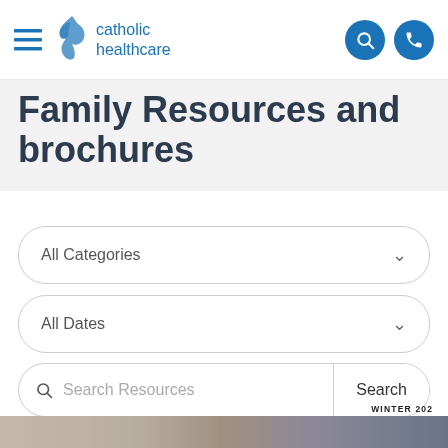catholic healthcare
Family Resources and brochures
All Categories
All Dates
Search Resources
WINTER 20..
[Figure (photo): Partial photo of a person visible at bottom of the page]